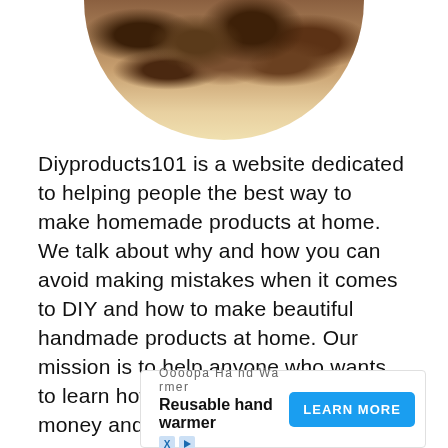[Figure (photo): Partial circular photo of a homemade food item in a bowl, cropped at the top of the page]
Diyproducts101 is a website dedicated to helping people the best way to make homemade products at home. We talk about why and how you can avoid making mistakes when it comes to DIY and how to make beautiful handmade products at home. Our mission is to help anyone who wants to learn how do-it-yourself to save money and control what they use.
[Figure (other): Advertisement banner: Oooopa Hand Warmer - Reusable hand warmer - LEARN MORE button]